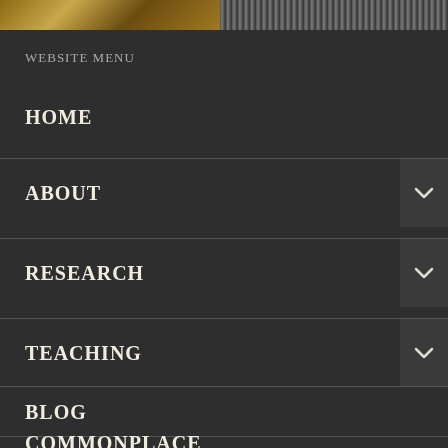[Figure (photo): Two cropped images at top: left shows warm golden/brown tones (possibly a painting or artifact), right shows a textured pattern in dark tones.]
WEBSITE MENU
HOME
ABOUT
RESEARCH
TEACHING
BLOG
COMMONPLACE